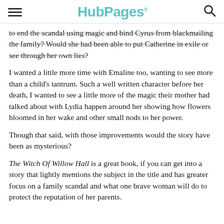HubPages
to end the scandal using magic and bind Cyrus from blackmailing the family? Would she had been able to put Catherine in exile or see through her own lies?
I wanted a little more time with Emaline too, wanting to see more than a child's tantrum. Such a well written character before her death, I wanted to see a little more of the magic their mother had talked about with Lydia happen around her showing how flowers bloomed in her wake and other small nods to her power.
Though that said, with those improvements would the story have been as mysterious?
The Witch Of Willow Hall is a great book, if you can get into a story that lightly mentions the subject in the title and has greater focus on a family scandal and what one brave woman will do to protect the reputation of her parents.